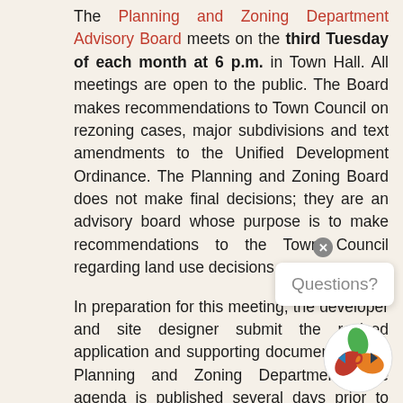The Planning and Zoning Department Advisory Board meets on the third Tuesday of each month at 6 p.m. in Town Hall. All meetings are open to the public. The Board makes recommendations to Town Council on rezoning cases, major subdivisions and text amendments to the Unified Development Ordinance. The Planning and Zoning Board does not make final decisions; they are an advisory board whose purpose is to make recommendations to the Town Council regarding land use decisions.
In preparation for this meeting, the developer and site designer submit the revised application and supporting documents to the Planning and Zoning Department. The agenda is published several days prior to meeting and promoted on social media; the revised documents are uploaded to the website.
At the Planning and Zoning Advisory Board meeting, the Board can take three actions related to the proposed project: recommend approval; recommend approval with changes (conditional changes, meaning the applicant